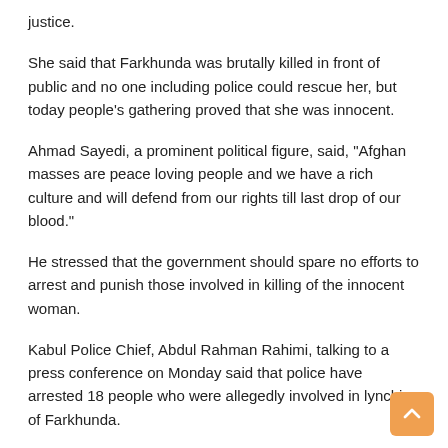justice.
She said that Farkhunda was brutally killed in front of public and no one including police could rescue her, but today people’s gathering proved that she was innocent.
Ahmad Sayedi, a prominent political figure, said, “Afghan masses are peace loving people and we have a rich culture and will defend from our rights till last drop of our blood.”
He stressed that the government should spare no efforts to arrest and punish those involved in killing of the innocent woman.
Kabul Police Chief, Abdul Rahman Rahimi, talking to a press conference on Monday said that police have arrested 18 people who were allegedly involved in lynching of Farkhunda.
He added that they suspended 13 policemen for negligence in their duty.
Farkhunda’s father told media-men that his daughter went to Shah-